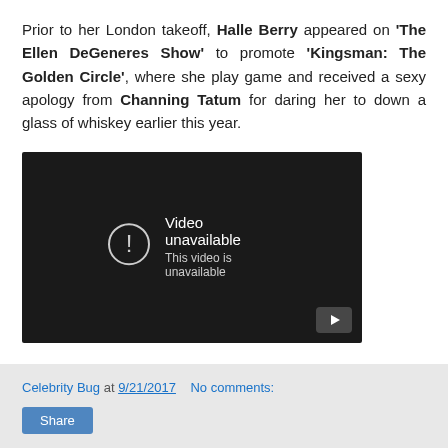Prior to her London takeoff, Halle Berry appeared on 'The Ellen DeGeneres Show' to promote 'Kingsman: The Golden Circle', where she play game and received a sexy apology from Channing Tatum for daring her to down a glass of whiskey earlier this year.
[Figure (screenshot): Embedded YouTube video player showing 'Video unavailable / This video is unavailable' error message on a dark background with a YouTube play button icon in the bottom right corner.]
Celebrity Bug at 9/21/2017   No comments:   Share